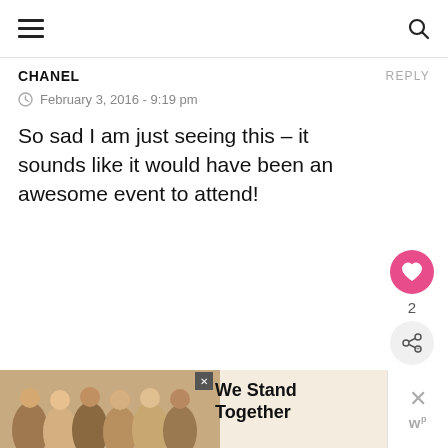≡ [menu] [search]
CHANEL
REPLY
February 3, 2016 - 9:19 pm
So sad I am just seeing this – it sounds like it would have been an awesome event to attend!
2
LEAVE A COMMENT
WHAT'S NEXT → NYC Event Alert:....
[Figure (photo): Group of people from behind with arms around each other, with text 'We Stand Together']
[Figure (logo): W logo with superscript p]